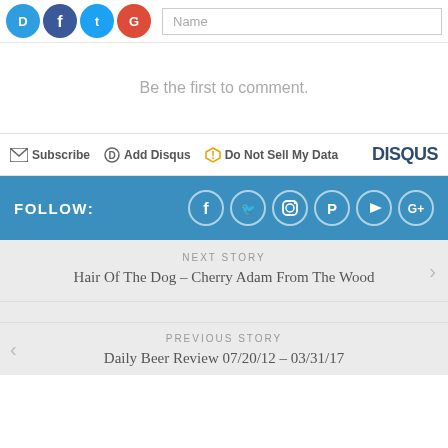[Figure (screenshot): Social login icons (Disqus, Facebook, Twitter, Google) and Name input field at top]
Be the first to comment.
Subscribe  Add Disqus  Do Not Sell My Data  DISQUS
FOLLOW:
[Figure (illustration): Social media follow icons: Facebook, Twitter, Instagram, Pinterest, YouTube, Google+]
NEXT STORY
Hair Of The Dog – Cherry Adam From The Wood
PREVIOUS STORY
Daily Beer Review 07/20/12 – 03/31/17